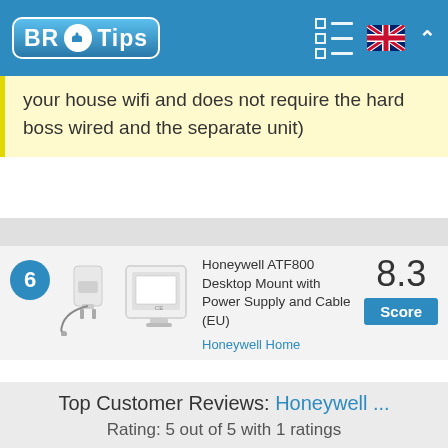BR Tips
your house wifi and does not require the hard boss wired and the separate unit)
Honeywell ATF800 Desktop Mount with Power Supply and Cable (EU)
8.3 Score
Honeywell Home
Top Customer Reviews: Honeywell ...
Rating: 5 out of 5 with 1 ratings